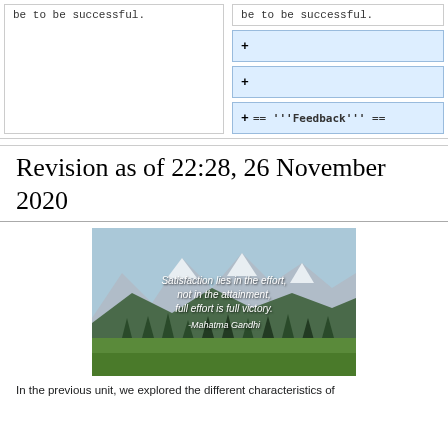be to be successful.
be to be successful.
+ (empty added line)
+ (empty added line)
+ == '''Feedback''' ==
Revision as of 22:28, 26 November 2020
[Figure (photo): Mountain landscape with snow-capped peaks and green meadow, overlaid with quote: 'Satisfaction lies in the effort, not in the attainment, full effort is full victory. -Mahatma Gandhi']
In the previous unit, we explored the different characteristics of